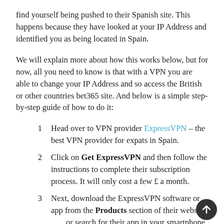find yourself being pushed to their Spanish site. This happens because they have looked at your IP Address and identified you as being located in Spain.
We will explain more about how this works below, but for now, all you need to know is that with a VPN you are able to change your IP Address and so access the British or other countries bet365 site. And below is a simple step-by-step guide of how to do it:
Head over to VPN provider ExpressVPN – the best VPN provider for expats in Spain.
Click on Get ExpressVPN and then follow the instructions to complete their subscription process. It will only cost a few £ a month.
Next, download the ExpressVPN software or app from the Products section of their website or search for their app in your smartphone app